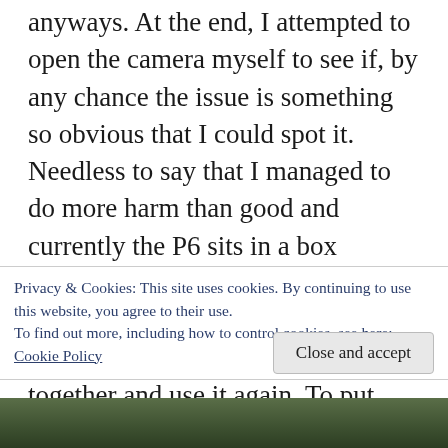anyways. At the end, I attempted to open the camera myself to see if, by any chance the issue is something so obvious that I could spot it. Needless to say that I managed to do more harm than good and currently the P6 sits in a box partially disassembled. Since then I have got a repair manual and I hope that one day I can get it back together and use it again. To put more salt to the wound, most of my Pentacon Six lenses got stuck aperture syndrome including the 50mm, 100mm and 180mm
Privacy & Cookies: This site uses cookies. By continuing to use this website, you agree to their use.
To find out more, including how to control cookies, see here: Cookie Policy
Close and accept